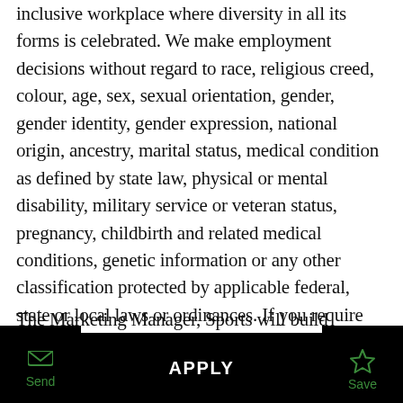inclusive workplace where diversity in all its forms is celebrated. We make employment decisions without regard to race, religious creed, colour, age, sex, sexual orientation, gender, gender identity, gender expression, national origin, ancestry, marital status, medical condition as defined by state law, physical or mental disability, military service or veteran status, pregnancy, childbirth and related medical conditions, genetic information or any other classification protected by applicable federal, state or local laws or ordinances. If you require special accommodation, please let us know.
The Marketing Manager, Sports will build marketing plans, create communication briefs, and oversee all
Send | APPLY | Save